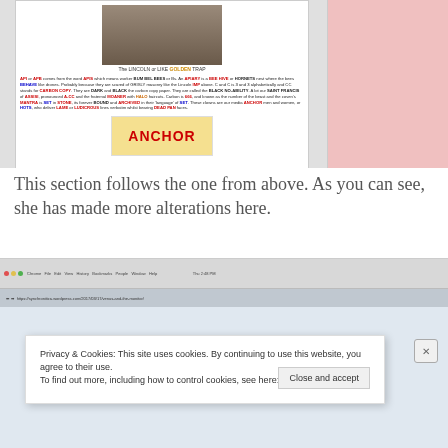[Figure (screenshot): Screenshot of a document/blog page showing a statue image captioned 'The LINCOLN or LIKE GOLDEN TRAP', colored text body about API/APB, APIARY, BEE HIVE, HORNET, CARBON COPY, BLACK NO-ABILITY, SAINT FRANCIS, MOANER, MANTRA, ANCHOR, HOTS, and a yellow Anchor butter box image. Pink sidebar on right.]
This section follows the one from above. As you can see, she has made more alterations here.
[Figure (screenshot): Screenshot of a browser (Chrome) showing a WordPress blog page with a Privacy & Cookies banner overlay that reads: 'Privacy & Cookies: This site uses cookies. By continuing to use this website, you agree to their use. To find out more, including how to control cookies, see here: Cookie Policy' with a 'Close and accept' button.]